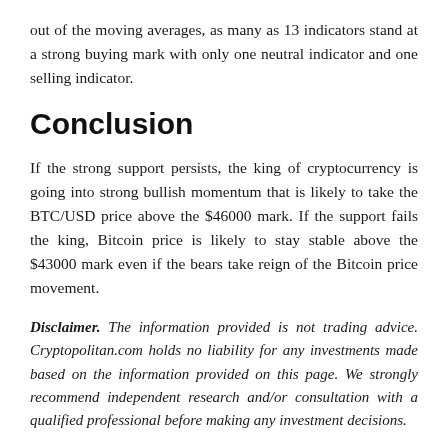out of the moving averages, as many as 13 indicators stand at a strong buying mark with only one neutral indicator and one selling indicator.
Conclusion
If the strong support persists, the king of cryptocurrency is going into strong bullish momentum that is likely to take the BTC/USD price above the $46000 mark. If the support fails the king, Bitcoin price is likely to stay stable above the $43000 mark even if the bears take reign of the Bitcoin price movement.
Disclaimer. The information provided is not trading advice. Cryptopolitan.com holds no liability for any investments made based on the information provided on this page. We strongly recommend independent research and/or consultation with a qualified professional before making any investment decisions.